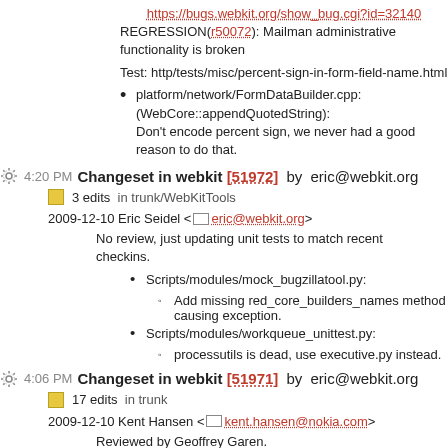https://bugs.webkit.org/show_bug.cgi?id=32140
REGRESSION(r50072): Mailman administrative functionality is broken
Test: http/tests/misc/percent-sign-in-form-field-name.html
platform/network/FormDataBuilder.cpp: (WebCore::appendQuotedString): Don't encode percent sign, we never had a good reason to do that.
4:20 PM Changeset in webkit [51972] by eric@webkit.org
3 edits in trunk/WebKitTools
2009-12-10 Eric Seidel <eric@webkit.org>
No review, just updating unit tests to match recent checkins.
Scripts/modules/mock_bugzillatool.py:
Add missing red_core_builders_names method causing exception.
Scripts/modules/workqueue_unittest.py:
processutils is dead, use executive.py instead.
4:06 PM Changeset in webkit [51971] by eric@webkit.org
17 edits in trunk
2009-12-10 Kent Hansen <kent.hansen@nokia.com>
Reviewed by Geoffrey Garen.